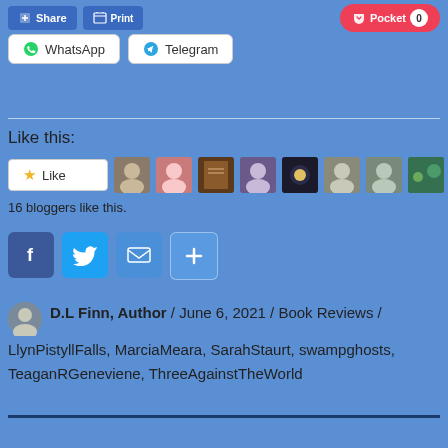[Figure (screenshot): Share buttons row at top: dark share button, print-like button, Pocket button with count 0]
[Figure (screenshot): WhatsApp and Telegram share buttons]
Like this:
[Figure (screenshot): Like button with star icon, followed by 9 blogger avatar thumbnails]
16 bloggers like this.
[Figure (screenshot): Social share icons: Facebook (blue), Twitter (blue), Email (blue envelope), Plus/Share (blue +)]
D.L Finn, Author / June 6, 2021 / Book Reviews / LlynPistyllFalls, MarciaMeara, SarahStaurt, swampghosts, TeaganRGeneviene, ThreeAgainstTheWorld